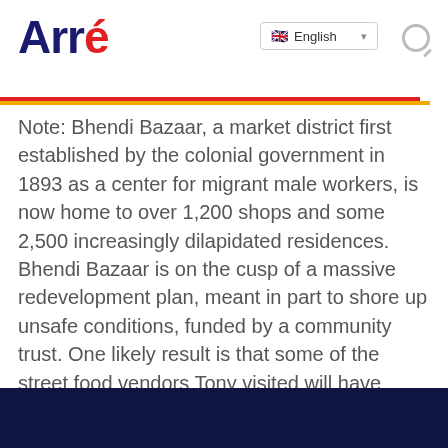Arré — English language selector and search icon
Note: Bhendi Bazaar, a market district first established by the colonial government in 1893 as a center for migrant male workers, is now home to over 1,200 shops and some 2,500 increasingly dilapidated residences. Bhendi Bazaar is on the cusp of a massive redevelopment plan, meant in part to shore up unsafe conditions, funded by a community trust. One likely result is that some of the street food vendors Tony visited will have been relocated or closed, so you'd be advised to check with local media and those in the know about where best to find the street foods you're seeking in Mumbai.